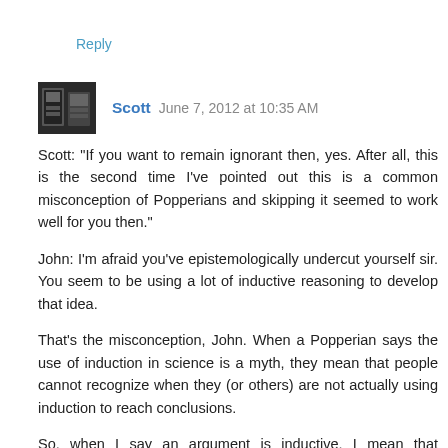Reply
Scott  June 7, 2012 at 10:35 AM
Scott: "If you want to remain ignorant then, yes. After all, this is the second time I've pointed out this is a common misconception of Popperians and skipping it seemed to work well for you then."
John: I'm afraid you've epistemologically undercut yourself sir. You seem to be using a lot of inductive reasoning to develop that idea.
That's the misconception, John. When a Popperian says the use of induction in science is a myth, they mean that people cannot recognize when they (or others) are not actually using induction to reach conclusions.
So, when I say an argument is inductive, I mean that someone is actually working from some explanatory framework which they haven't disclosed or do not recognize as an explanatory framework in the first place.